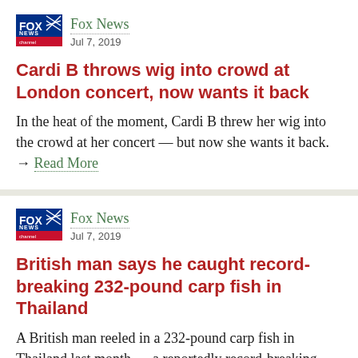[Figure (logo): Fox News channel logo - red/blue/white with fox graphic]
Fox News
Jul 7, 2019
Cardi B throws wig into crowd at London concert, now wants it back
In the heat of the moment, Cardi B threw her wig into the crowd at her concert — but now she wants it back. → Read More
[Figure (logo): Fox News channel logo - red/blue/white with fox graphic]
Fox News
Jul 7, 2019
British man says he caught record-breaking 232-pound carp fish in Thailand
A British man reeled in a 232-pound carp fish in Thailand last month — a reportedly record-breaking size believed to be the world's largest caught carp fish. → Read More